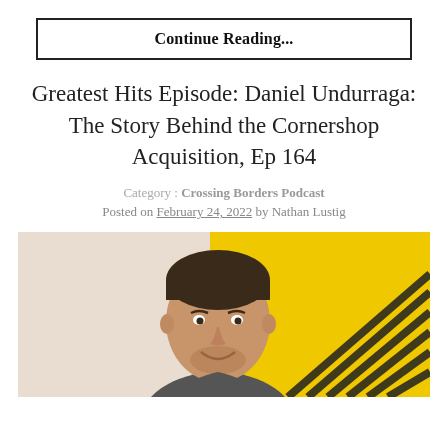Continue Reading...
Greatest Hits Episode: Daniel Undurraga: The Story Behind the Cornershop Acquisition, Ep 164
Category : Crossing Borders Podcast
Posted on February 24, 2022 by Nathan Lustig
[Figure (photo): Photo of Daniel Undurraga smiling, wearing a dark t-shirt, against a background split between a beige/cream left half and a bright yellow right half with diagonal black stripe accents]